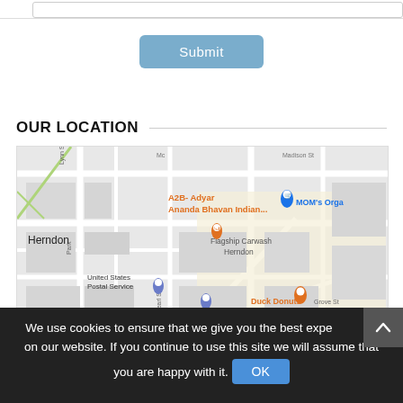[Figure (screenshot): Partial input field at top of page]
Submit
OUR LOCATION
[Figure (map): Google Maps screenshot showing Herndon area with markers for A2B-Adyar Ananda Bhavan Indian, MOM's Organ, Flagship Carwash Herndon, United States Postal Service, Duck Donuts, Safeway, Aditi Spice. Streets visible: Lynn St, Park, Pearl St, Grove St, n Buren St, Madison St.]
We use cookies to ensure that we give you the best experience on our website. If you continue to use this site we will assume that you are happy with it. OK